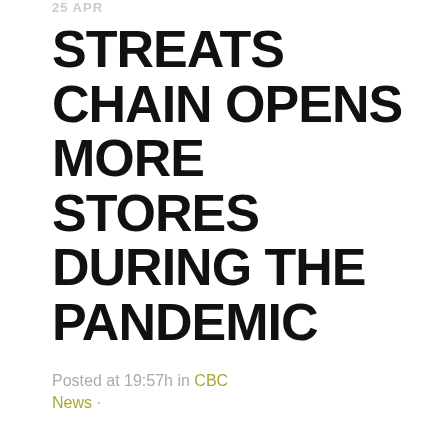25 APR
STREATS CHAIN OPENS MORE STORES DURING THE PANDEMIC
Posted at 19:57h in CBC News ·
With all the chaos that...